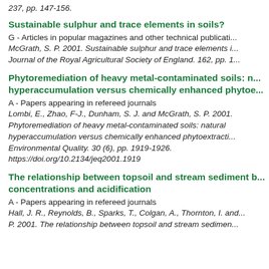237, pp. 147-156.
Sustainable sulphur and trace elements in soils?
G - Articles in popular magazines and other technical publicati...
McGrath, S. P. 2001. Sustainable sulphur and trace elements i... Journal of the Royal Agricultural Society of England. 162, pp. 1...
Phytoremediation of heavy metal-contaminated soils: n... hyperaccumulation versus chemically enhanced phytoe...
A - Papers appearing in refereed journals
Lombi, E., Zhao, F-J., Dunham, S. J. and McGrath, S. P. 2001. Phytoremediation of heavy metal-contaminated soils: natural hyperaccumulation versus chemically enhanced phytoextracti... Environmental Quality. 30 (6), pp. 1919-1926. https://doi.org/10.2134/jeq2001.1919
The relationship between topsoil and stream sediment b... concentrations and acidification
A - Papers appearing in refereed journals
Hall, J. R., Reynolds, B., Sparks, T., Colgan, A., Thornton, I. and... P. 2001. The relationship between topsoil and stream sedimen...